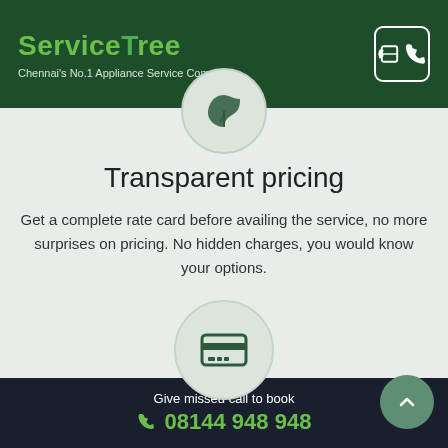ServiceTree - Chennai's No.1 Appliance Service Company
[Figure (illustration): Green leaf/location pin icon in a circle]
Transparent pricing
Get a complete rate card before availing the service, no more surprises on pricing. No hidden charges, you would know your options.
[Figure (illustration): Credit card icon in a circle]
Pay after service
We go the extra mile for our customer's convenience with multiple
Give missed call to book
08144 948 948